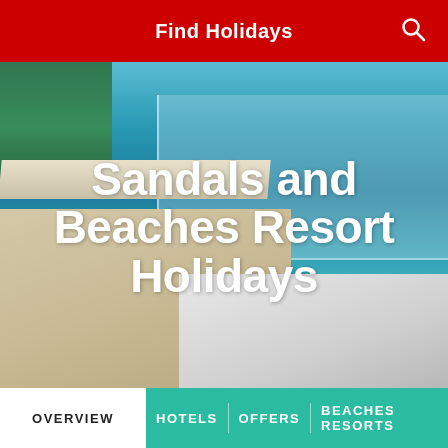Find Holidays
[Figure (photo): Resort pool area with lounge chairs, glass railing, turquoise water, palm trees and ocean in background. Large white bold text reads 'Sandals and Beaches Resort Holidays']
Sandals and Beaches Resort Holidays
OVERVIEW | HOTELS | OFFERS | BEACHES RESORTS